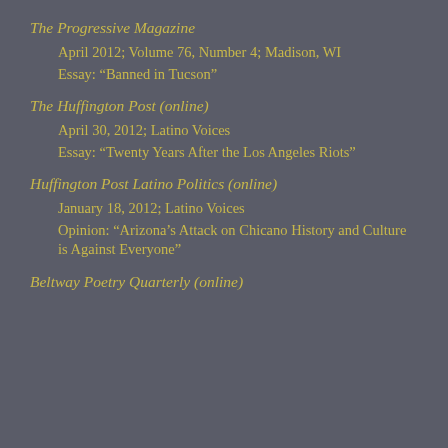The Progressive Magazine
April 2012; Volume 76, Number 4; Madison, WI
Essay: “Banned in Tucson”
The Huffington Post (online)
April 30, 2012; Latino Voices
Essay: “Twenty Years After the Los Angeles Riots”
Huffington Post Latino Politics (online)
January 18, 2012; Latino Voices
Opinion: “Arizona’s Attack on Chicano History and Culture is Against Everyone”
Beltway Poetry Quarterly (online)